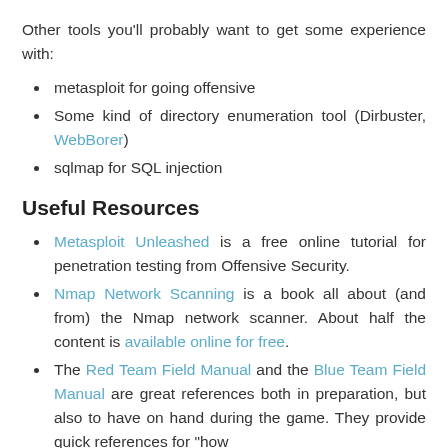Other tools you'll probably want to get some experience with:
metasploit for going offensive
Some kind of directory enumeration tool (Dirbuster, WebBorer)
sqlmap for SQL injection
Useful Resources
Metasploit Unleashed is a free online tutorial for penetration testing from Offensive Security.
Nmap Network Scanning is a book all about (and from) the Nmap network scanner. About half the content is available online for free.
The Red Team Field Manual and the Blue Team Field Manual are great references both in preparation, but also to have on hand during the game. They provide quick references for "how